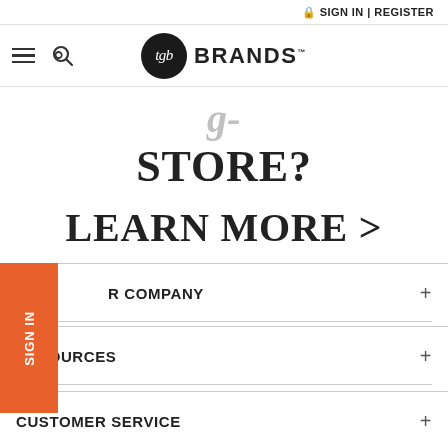🔒 SIGN IN | REGISTER
[Figure (logo): tgb BRANDS logo with circular black emblem containing 'tgb' in italic script]
STORE?
LEARN MORE >
R COMPANY +
RESOURCES +
CUSTOMER SERVICE +